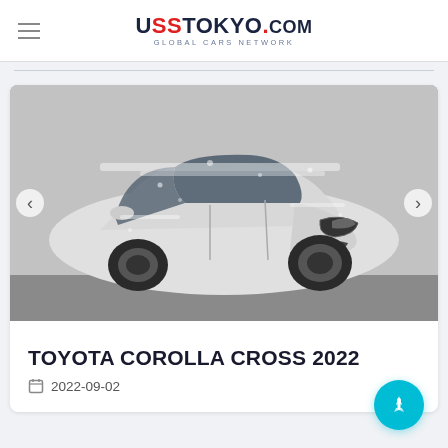USS TOKYO.COM GLOBAL CARS NETWORK
[Figure (photo): White Toyota Corolla Cross 2022 SUV photographed from front-left angle in what appears to be an auction yard. The car is white with black alloy wheels, dark-tinted windows, and LED headlights. Snow or dust visible on the vehicle.]
TOYOTA COROLLA CROSS 2022
2022-09-02